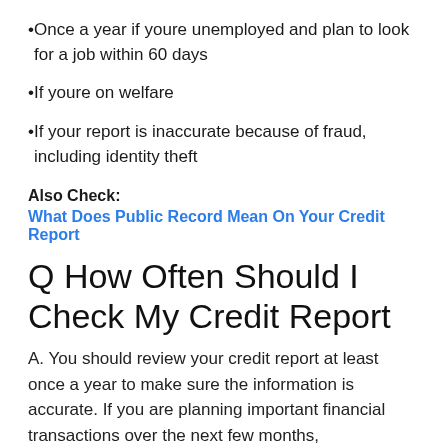Once a year if youre unemployed and plan to look for a job within 60 days
If youre on welfare
If your report is inaccurate because of fraud, including identity theft
Also Check:
What Does Public Record Mean On Your Credit Report
Q How Often Should I Check My Credit Report
A. You should review your credit report at least once a year to make sure the information is accurate. If you are planning important financial transactions over the next few months, you should check your report before doing so. This allows for